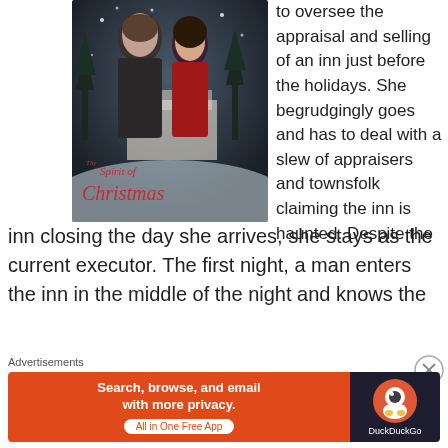[Figure (photo): Movie cover for 'The Spirit of Christmas' showing a couple about to kiss in a snowy winter scene, with the title in red cursive script overlaid on the bottom left of the image]
to oversee the appraisal and selling of an inn just before the holidays. She begrudgingly goes and has to deal with a slew of appraisers and townsfolk claiming the inn is haunted. Despite the inn closing the day she arrives, she stays as the current executor. The first night, a man enters the inn in the middle of the night and knows the
Advertisements
[Figure (other): DuckDuckGo advertisement banner with orange background on left side reading 'Search, browse, and email with more privacy. All in One Free App' and dark background on right side with DuckDuckGo duck logo and 'DuckDuckGo' text]